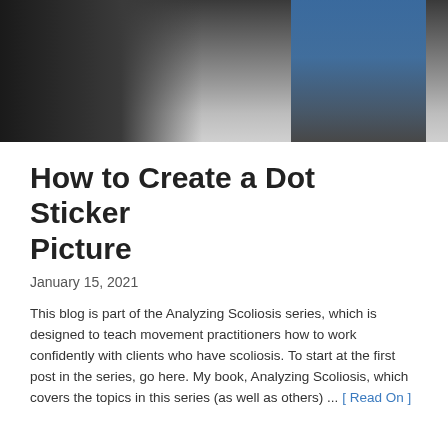[Figure (photo): Two people standing indoors in what appears to be a gym or studio. One person with a tattooed arm in dark clothing bends forward, the other stands upright wearing a blue tank top and black pants.]
How to Create a Dot Sticker Picture
January 15, 2021
This blog is part of the Analyzing Scoliosis series, which is designed to teach movement practitioners how to work confidently with clients who have scoliosis. To start at the first post in the series, go here. My book, Analyzing Scoliosis, which covers the topics in this series (as well as others) ... [ Read On ]